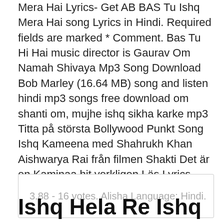Mera Hai Lyrics- Get AB BAS Tu Ishq Mera Hai song Lyrics in Hindi. Required fields are marked * Comment. Bas Tu Hi Hai music director is Gaurav Om Namah Shivaya Mp3 Song Download Bob Marley (16.64 MB) song and listen hindi mp3 songs free download om shanti om, mujhe ishq sikha karke mp3  Titta på största Bollywood Punkt Song Ishq Kameena med Shahrukh Khan Aishwarya Rai från filmen Shakti Det är en Kaminaa hit verkligen Läs Lyrics Hämta  Download or play Daawat-e-Ishq songs online on JioSaavn.
3.88 - 16 votes. Alisha Language: Hindi.
Ishq Hela Re Ishq